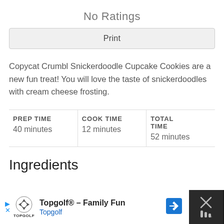No Ratings
Print
Copycat Crumbl Snickerdoodle Cupcake Cookies are a new fun treat! You will love the taste of snickerdoodles with cream cheese frosting.
| PREP TIME | COOK TIME | TOTAL TIME |
| --- | --- | --- |
| 40 minutes | 12 minutes | 52 minutes |
Ingredients
Topgolf® - Family Fun Topgolf